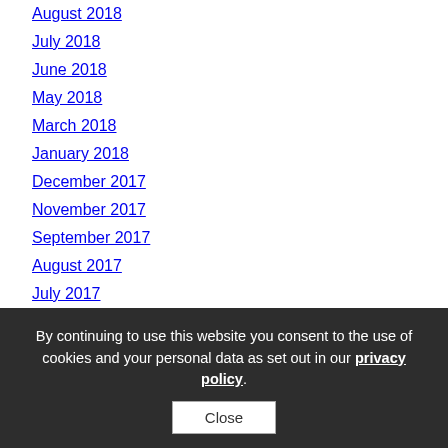August 2018
July 2018
June 2018
May 2018
March 2018
January 2018
December 2017
November 2017
September 2017
August 2017
July 2017
June 2017
CATEGORIES
Book Collections
By continuing to use this website you consent to the use of cookies and your personal data as set out in our privacy policy.
Close